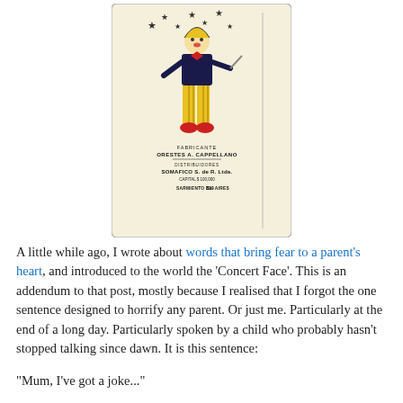[Figure (illustration): A vintage Argentine playing card featuring a joker/clown character in yellow striped pants, red shoes, dark jacket with bow tie, holding items, surrounded by stars. Text on card reads: FABRICANTE ORESTES A. CAPPELLANO, DISTRIBUIDORES SOMAFICO S. de R. Ltda., CAPITAL $ 100,000, SARMIENTO 329 BS. AIRES. Vertical text on right side reads REKOR.]
A little while ago, I wrote about words that bring fear to a parent's heart, and introduced to the world the 'Concert Face'. This is an addendum to that post, mostly because I realised that I forgot the one sentence designed to horrify any parent. Or just me. Particularly at the end of a long day. Particularly spoken by a child who probably hasn't stopped talking since dawn. It is this sentence:
"Mum, I've got a joke..."
In other households, this may merely herald the latest in a